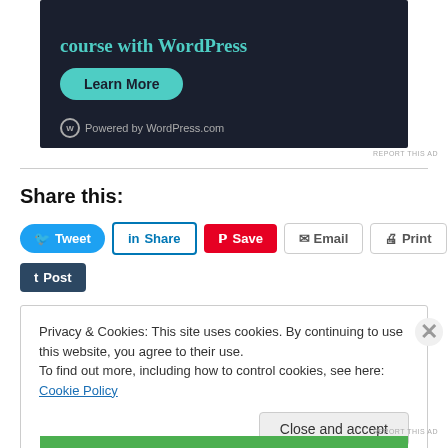[Figure (screenshot): WordPress.com advertisement banner with dark background showing 'course with WordPress' text, a 'Learn More' teal button, and 'Powered by WordPress.com' branding]
REPORT THIS AD
Share this:
Tweet | Share | Save | Email | Print | Post
Privacy & Cookies: This site uses cookies. By continuing to use this website, you agree to their use. To find out more, including how to control cookies, see here: Cookie Policy
Close and accept